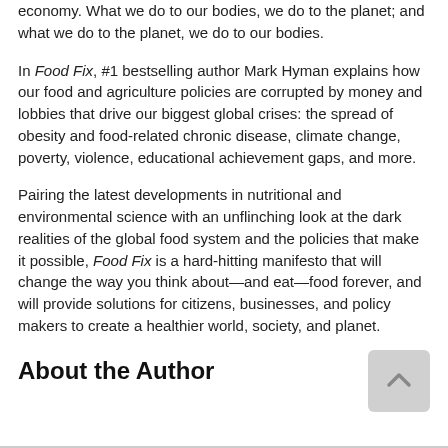economy. What we do to our bodies, we do to the planet; and what we do to the planet, we do to our bodies.
In Food Fix, #1 bestselling author Mark Hyman explains how our food and agriculture policies are corrupted by money and lobbies that drive our biggest global crises: the spread of obesity and food-related chronic disease, climate change, poverty, violence, educational achievement gaps, and more.
Pairing the latest developments in nutritional and environmental science with an unflinching look at the dark realities of the global food system and the policies that make it possible, Food Fix is a hard-hitting manifesto that will change the way you think about—and eat—food forever, and will provide solutions for citizens, businesses, and policy makers to create a healthier world, society, and planet.
About the Author